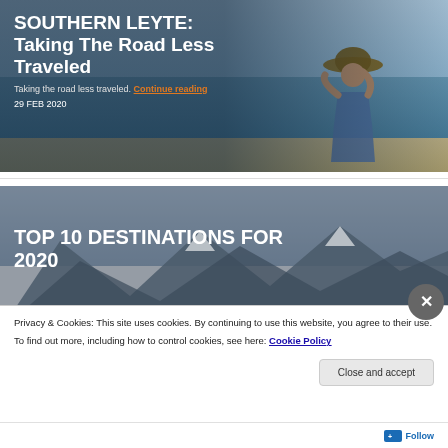[Figure (photo): Beach scene with a woman wearing a hat looking out to sea, with text overlay for blog post about Southern Leyte travel]
SOUTHERN LEYTE: Taking The Road Less Traveled
Taking the road less traveled. Continue reading
29 FEB 2020
[Figure (photo): Mountain/rocky landscape scene with text overlay for blog post about Top 10 Destinations for 2020]
TOP 10 DESTINATIONS FOR 2020
Privacy & Cookies: This site uses cookies. By continuing to use this website, you agree to their use.
To find out more, including how to control cookies, see here: Cookie Policy
Close and accept